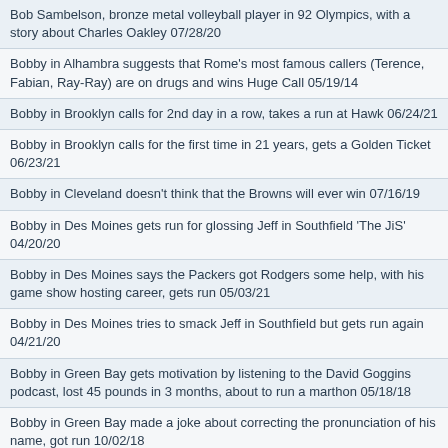Bob Sambelson, bronze metal volleyball player in 92 Olympics, with a story about Charles Oakley 07/28/20
Bobby in Alhambra suggests that Rome's most famous callers (Terence, Fabian, Ray-Ray) are on drugs and wins Huge Call 05/19/14
Bobby in Brooklyn calls for 2nd day in a row, takes a run at Hawk 06/24/21
Bobby in Brooklyn calls for the first time in 21 years, gets a Golden Ticket 06/23/21
Bobby in Cleveland doesn't think that the Browns will ever win 07/16/19
Bobby in Des Moines gets run for glossing Jeff in Southfield 'The JiS' 04/20/20
Bobby in Des Moines says the Packers got Rodgers some help, with his game show hosting career, gets run 05/03/21
Bobby in Des Moines tries to smack Jeff in Southfield but gets run again 04/21/20
Bobby in Green Bay gets motivation by listening to the David Goggins podcast, lost 45 pounds in 3 months, about to run a marthon 05/18/18
Bobby in Green Bay made a joke about correcting the pronunciation of his name, got run 10/02/18
Bobby in Nashville wants us to know that his boys call him Cracker Jack, Alvie ran him for self gloss 06/06/17
Bobby in Newport Beach is a DA, give insight on Tiger Woods crash investigation 04/07/21
Boston Phinn returns after 16 years, gets run for rambling 02/02/15
Boxing referee Arthur Mercante Jr. calls on the listener line, talks about fights